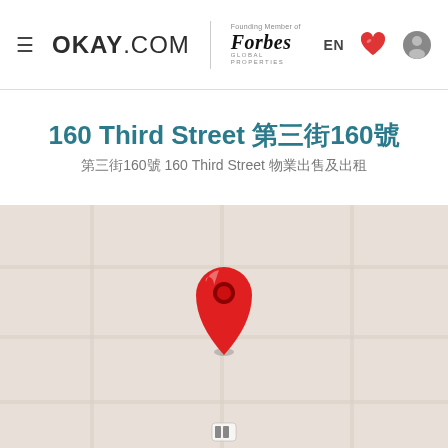OKAY.COM | Founding Member of Forbes Global Properties | EN
160 Third Street 第三街160號
第三街160號 160 Third Street 物業出售及出租
[Figure (map): Google Maps view showing a location pin (red marker) dropped at 160 Third Street. The map background is a plain light grey with no street labels visible. A small map control icon is visible at the bottom center.]